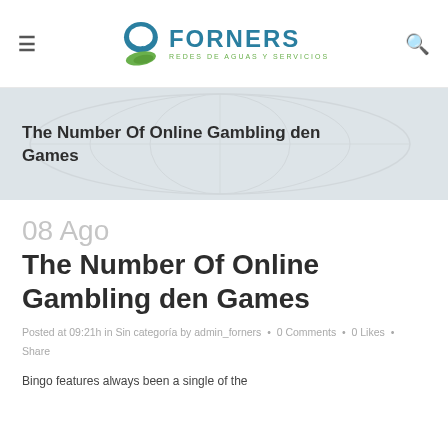[Figure (logo): Forners logo with teal circular icon and green leaf, text FORNERS REDES DE AGUAS Y SERVICIOS]
The Number Of Online Gambling den Games
08 Ago The Number Of Online Gambling den Games
Posted at 09:21h in Sin categoría by admin_forners • 0 Comments • 0 Likes • Share
Bingo features always been a single of the